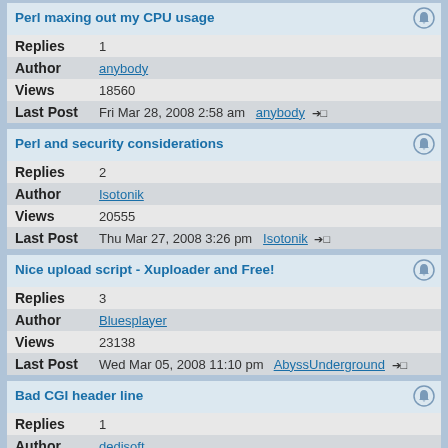Perl maxing out my CPU usage
Replies  1
Author  anybody
Views  18560
Last Post  Fri Mar 28, 2008 2:58 am  anybody
Perl and security considerations
Replies  2
Author  Isotonik
Views  20555
Last Post  Thu Mar 27, 2008 3:26 pm  Isotonik
Nice upload script - Xuploader and Free!
Replies  3
Author  Bluesplayer
Views  23138
Last Post  Wed Mar 05, 2008 11:10 pm  AbyssUnderground
Bad CGI header line
Replies  1
Author  dedisoft